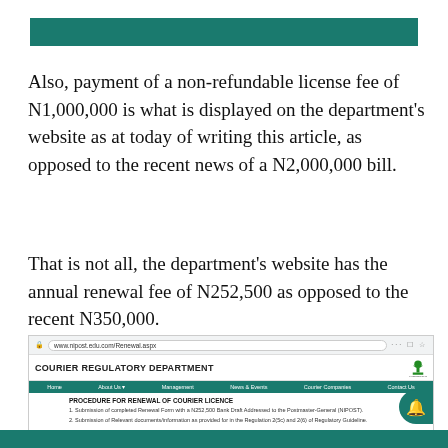[Figure (other): Teal/dark green decorative header bar at the top of the page]
Also, payment of a non-refundable license fee of N1,000,000 is what is displayed on the department's website as at today of writing this article, as opposed to the recent news of a N2,000,000 bill.
That is not all, the department's website has the annual renewal fee of N252,500 as opposed to the recent N350,000.
[Figure (screenshot): Screenshot of the Courier Regulatory Department website showing the Procedure for Renewal of Courier Licence page, with navigation bar and two procedure steps listed.]
[Figure (other): Teal/dark green decorative footer bar at the bottom of the page]